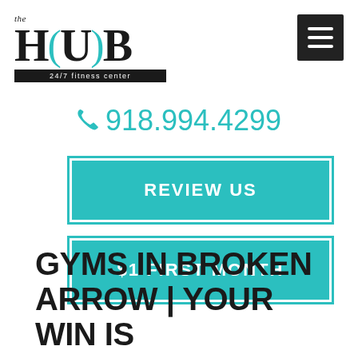[Figure (logo): The HUB 24/7 fitness center logo with teal bracket accents]
[Figure (other): Hamburger menu icon (three white lines on dark background)]
918.994.4299
REVIEW US
$1 FIRST MONTH
GYMS IN BROKEN ARROW | YOUR WIN IS